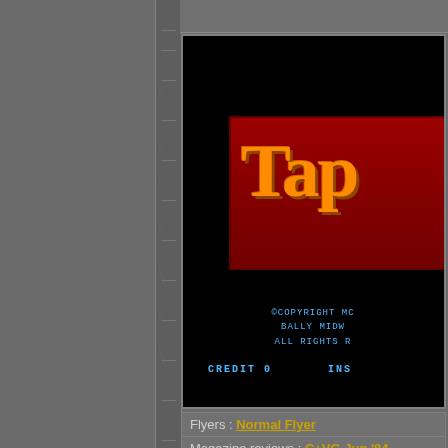[Figure (screenshot): Arcade game screenshot showing 'Tapper' title logo in orange text on a dark red banner background, with black screen showing copyright text '©COPYRIGHT MC BALLY MIDW ALL RIGHTS R' and 'CREDIT 0   INS' in cyan pixel font]
Flyers : Normal Flyer
Magazine reviews : C+VG Jun '84